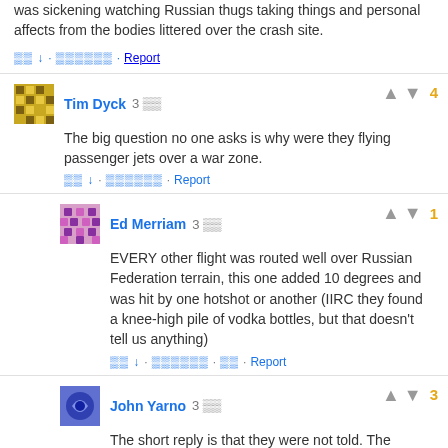was sickening watching Russian thugs taking things and personal affects from the bodies littered over the crash site.
Tim Dyck  3 — The big question no one asks is why were they flying passenger jets over a war zone. — vote: 4
Ed Merriam  3 — EVERY other flight was routed well over Russian Federation terrain, this one added 10 degrees and was hit by one hotshot or another (IIRC they found a knee-high pile of vodka bottles, but that doesn't tell us anything) — vote: 1
John Yarno  3 — The short reply is that they were not told. The NOTAM was only a very poor cop-out. — vote: 3
cparks  3 — Incomprehensible NOTAM. — vote: 3
https://ops.group/story/mh17-ac759/